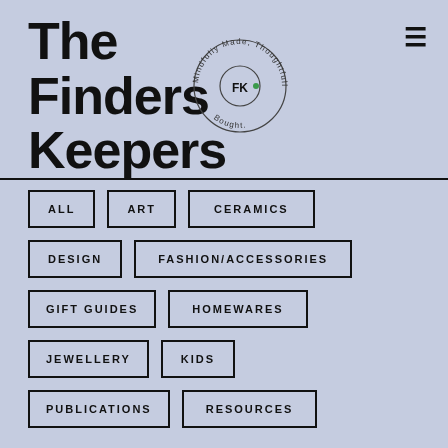The Finders Keepers
[Figure (logo): Circular logo with 'FK' monogram in center and text 'Mindfully Made, Thoughtfully Bought.' around the circumference]
ALL
ART
CERAMICS
DESIGN
FASHION/ACCESSORIES
GIFT GUIDES
HOMEWARES
JEWELLERY
KIDS
PUBLICATIONS
RESOURCES